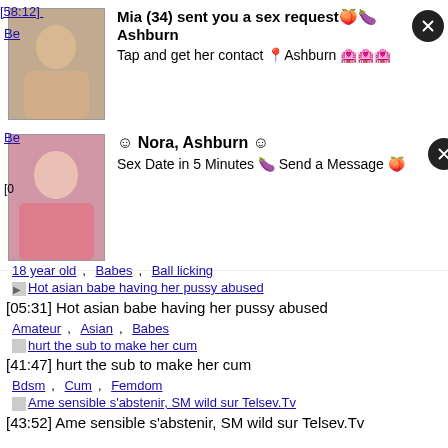[58:12] ...
Be...
[Figure (photo): Ad banner: Mia (34) sent you a sex request in Ashburn. Tap and get her contact.]
[0...
[Figure (photo): Ad banner: Nora, Ashburn - Sex Date in 5 Minutes. Send a Message.]
18 year old, Babes, Ball licking
Hot asian babe having her pussy abused (link/thumbnail)
[05:31] Hot asian babe having her pussy abused
Amateur, Asian, Babes
hurt the sub to make her cum (link/thumbnail)
[41:47] hurt the sub to make her cum
Bdsm, Cum, Femdom
Ame sensible s&#039;abstenir, SM wild sur Telsev.Tv (link/thumbnail)
[43:52] Ame sensible s'abstenir, SM wild sur Telsev.Tv